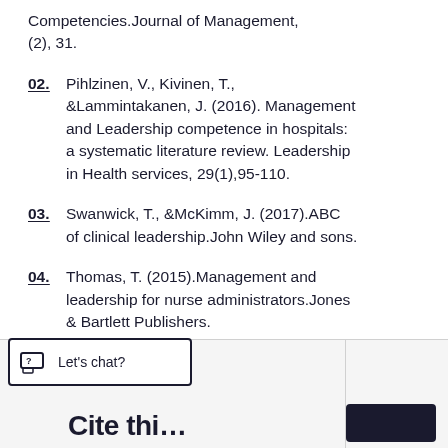Competencies.Journal of Management, (2), 31.
02. Pihlzinen, V., Kivinen, T., &Lammintakanen, J. (2016). Management and Leadership competence in hospitals: a systematic literature review. Leadership in Health services, 29(1),95-110.
03. Swanwick, T., &McKimm, J. (2017).ABC of clinical leadership.John Wiley and sons.
04. Thomas, T. (2015).Management and leadership for nurse administrators.Jones & Bartlett Publishers.
[Figure (screenshot): Bottom UI bar with a 'Let's chat?' chat widget button on the left and partial text 'Cite this...' with a dark button on the right.]